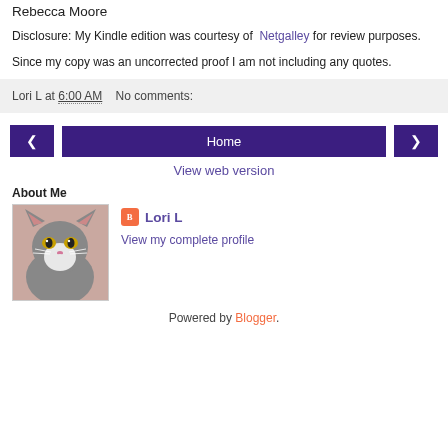Rebecca Moore
Disclosure: My Kindle edition was courtesy of Netgalley for review purposes.
Since my copy was an uncorrected proof I am not including any quotes.
Lori L at 6:00 AM    No comments:
[Figure (other): Navigation buttons: left arrow, Home, right arrow]
View web version
About Me
[Figure (photo): Photo of a gray and white cat with yellow eyes]
Lori L
View my complete profile
Powered by Blogger.